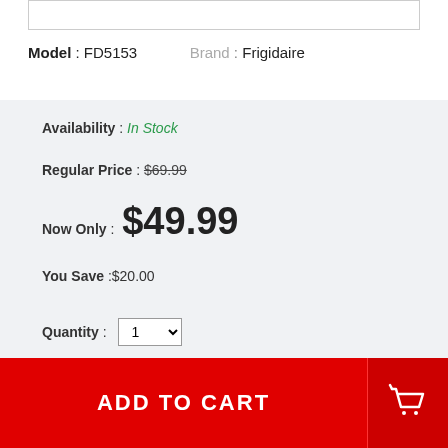Model : FD5153    Brand : Frigidaire
Availability : In Stock
Regular Price : $69.99
Now Only : $49.99
You Save :$20.00
Quantity : 1
ADD TO CART